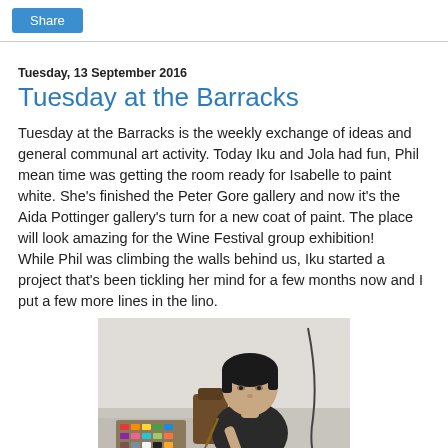Share
Tuesday, 13 September 2016
Tuesday at the Barracks
Tuesday at the Barracks is the weekly exchange of ideas and general communal art activity. Today Iku and Jola had fun, Phil mean time was getting the room ready for Isabelle to paint white. She's finished the Peter Gore gallery and now it's the Aida Pottinger gallery's turn for a new coat of paint. The place will look amazing for the Wine Festival group exhibition!
While Phil was climbing the walls behind us, Iku started a project that's been tickling her mind for a few months now and I put a few more lines in the lino.
[Figure (photo): Photo of a person (Iku) sitting at a table with a watercolor paint set, working on an art project in a white room]